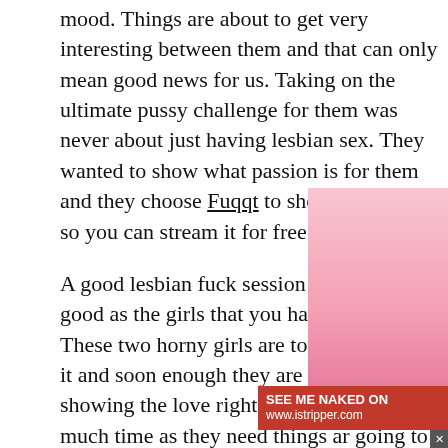mood. Things are about to get very interesting between them and that can only mean good news for us. Taking on the ultimate pussy challenge for them was never about just having lesbian sex. They wanted to show what passion is for them and they choose Fuqqt to show it for them so you can stream it for free.
A good lesbian fuck session is only as good as the girls that you have on display. These two horny girls are totally ready for it and soon enough they are going to be showing the love right on camera. Taking as much time as they need things are going to be going at a fast pace.
They want their pussies to get what's coming them and right now they need the juices to. Things are really starting to pick up pace there's no going back. It is about to get nice and wet.
[Figure (photo): Blonde woman in pink lingerie posing]
SEE ME NAKED ON www.istripper.com